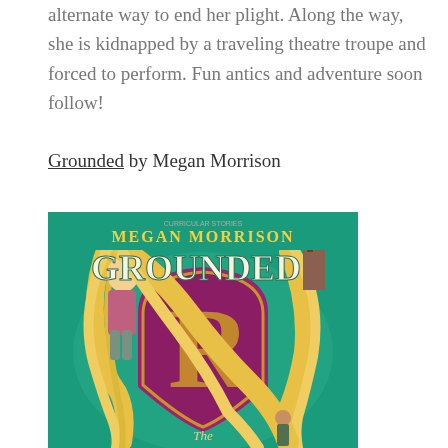alternate way to end her plight. Along the way, she is kidnapped by a traveling theatre troupe and forced to perform. Fun antics and adventure soon follow!
Grounded by Megan Morrison
[Figure (illustration): Book cover of 'Grounded' by Megan Morrison. Teal/green background with a blonde girl with very long golden hair, large ornate 'R' letter on a purple shield, a tower, and a small figure at the bottom. Author name 'Megan Morrison' at top in yellow.]